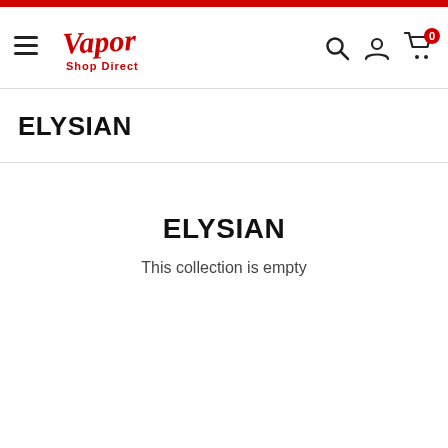Vapor Shop Direct - navigation header with logo, hamburger menu, search, account, and cart icons
ELYSIAN
ELYSIAN
This collection is empty